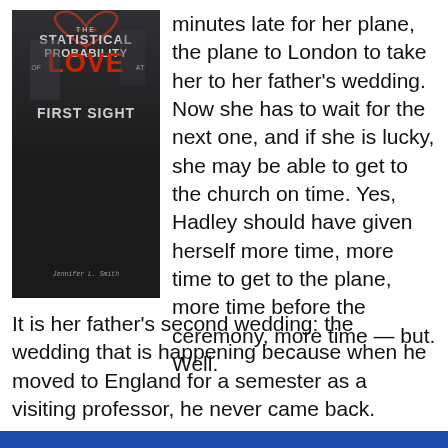[Figure (illustration): Book cover of 'The Statistical Probability of Love at First Sight' by Jennifer E. Smith. Dark background with two silhouetted figures and a red heart shape at top. Title text in grey/white with 'LOVE' in red.]
minutes late for her plane, the plane to London to take her to her father's wedding. Now she has to wait for the next one, and if she is lucky, she may be able to get to the church on time. Yes, Hadley should have given herself more time, more time to get to the plane, more time before the ceremony, more time — but. Well. It is her father's second wedding: the wedding that is happening because when he moved to England for a semester as a visiting professor, he never came back.
This coverage is free for all visitors. Your support makes this possible.
SUBSCRIBE